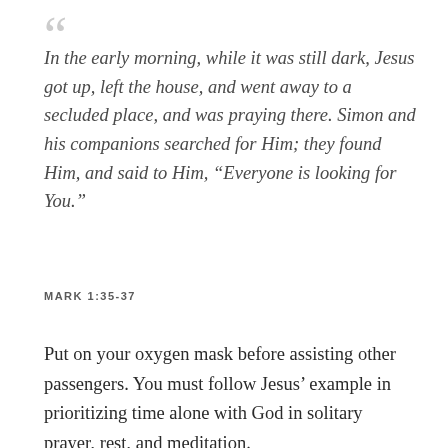“In the early morning, while it was still dark, Jesus got up, left the house, and went away to a secluded place, and was praying there. Simon and his companions searched for Him; they found Him, and said to Him, “Everyone is looking for You.”
MARK 1:35-37
Put on your oxygen mask before assisting other passengers. You must follow Jesus’ example in prioritizing time alone with God in solitary prayer, rest, and meditation.